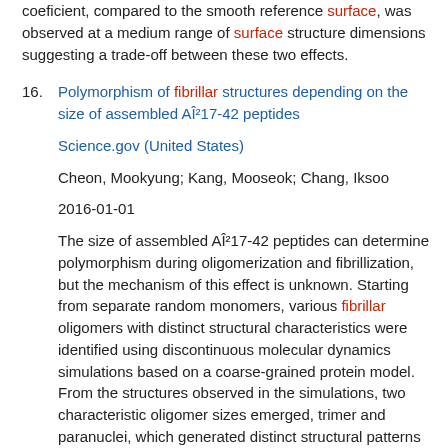coeficient, compared to the smooth reference surface, was observed at a medium range of surface structure dimensions suggesting a trade-off between these two effects.
16. Polymorphism of fibrillar structures depending on the size of assembled AÎ²17-42 peptides
Science.gov (United States)
Cheon, Mookyung; Kang, Mooseok; Chang, Iksoo
2016-01-01
The size of assembled AÎ²17-42 peptides can determine polymorphism during oligomerization and fibrillization, but the mechanism of this effect is unknown. Starting from separate random monomers, various fibrillar oligomers with distinct structural characteristics were identified using discontinuous molecular dynamics simulations based on a coarse-grained protein model. From the structures observed in the simulations, two characteristic oligomer sizes emerged, trimer and paranuclei, which generated distinct structural patterns during fibrillization. A majority of the simulations for trimers and tetramers formed non-fibrillar oligomers, which primarily